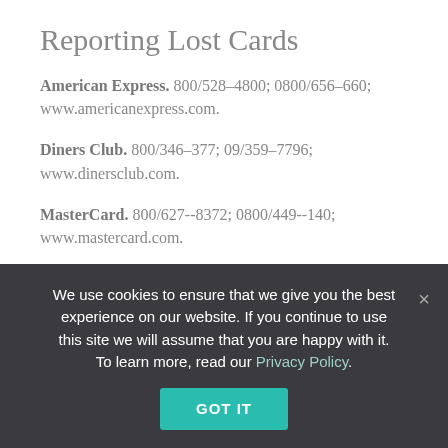Reporting Lost Cards
American Express. 800/528–4800; 0800/656–660; www.americanexpress.com.
Diners Club. 800/346–377; 09/359–7796; www.dinersclub.com.
MasterCard. 800/627--8372; 0800/449--140; www.mastercard.com.
Visa. 800/847–2911; 09/522–3010; www.visa.com.
Currency and Exchange
New Zealand's unit of currency is the dollar, divided into 100 cents. Bills are in $100, $50, $10, and $5 denominations. Coins are $2, $1, 50¢, 20¢, and 10¢. At this writing the rate of
We use cookies to ensure that we give you the best experience on our website. If you continue to use this site we will assume that you are happy with it. To learn more, read our Privacy Policy.